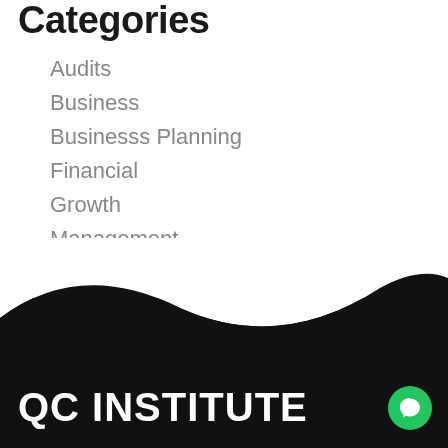Categories
Audits
Business
Businesss Planning
Financial
Growth
Management
Strategy
Uncategorized
QC INSTITUTE